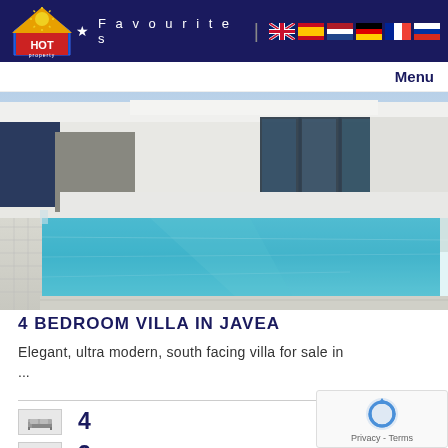HOT Property — Favourites — Menu
[Figure (photo): Exterior photo of a modern luxury villa with a large infinity swimming pool with blue water, white modern architecture with floor-to-ceiling glass windows, and tiled pool deck area.]
4 BEDROOM VILLA IN JAVEA
Elegant, ultra modern, south facing villa for sale in ...
4
3